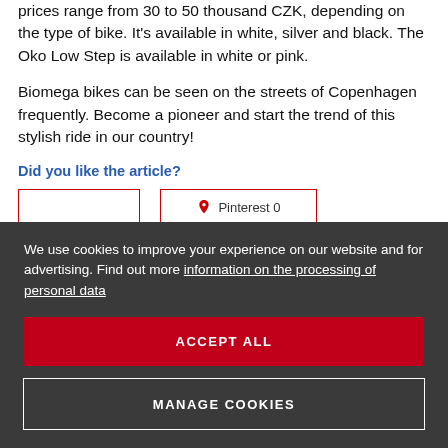prices range from 30 to 50 thousand CZK, depending on the type of bike. It's available in white, silver and black. The Oko Low Step is available in white or pink.
Biomega bikes can be seen on the streets of Copenhagen frequently. Become a pioneer and start the trend of this stylish ride in our country!
Did you like the article?
We use cookies to improve your experience on our website and for advertising. Find out more information on the processing of personal data
ACCEPT ALL
MANAGE COOKIES